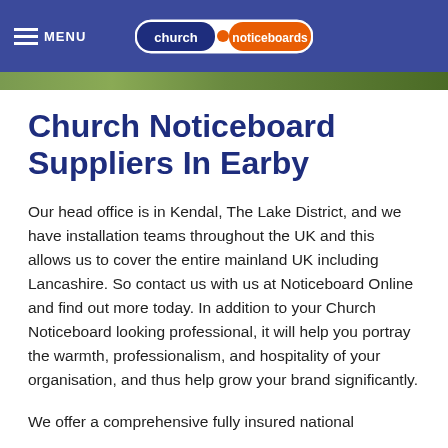MENU | church noticeboards
Church Noticeboard Suppliers In Earby
Our head office is in Kendal, The Lake District, and we have installation teams throughout the UK and this allows us to cover the entire mainland UK including Lancashire. So contact us with us at Noticeboard Online and find out more today. In addition to your Church Noticeboard looking professional, it will help you portray the warmth, professionalism, and hospitality of your organisation, and thus help grow your brand significantly.
We offer a comprehensive fully insured national